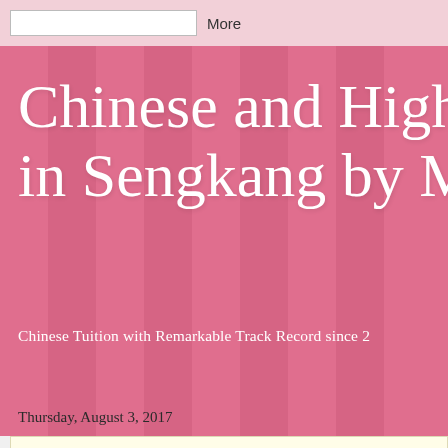More
Chinese and High in Sengkang by M
Chinese Tuition with Remarkable Track Record since 2
Thursday, August 3, 2017
Quality Teaching & Structured Le Chinese Language
If you are interested in my tuition service, contact me at 9 more.